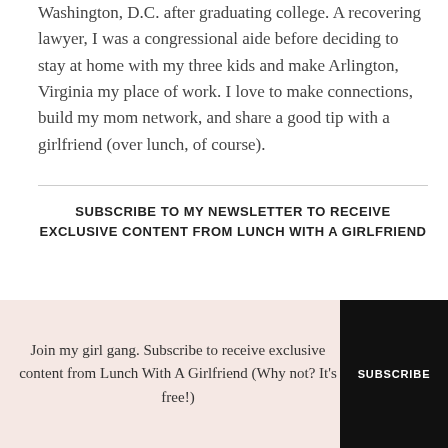Washington, D.C. after graduating college. A recovering lawyer, I was a congressional aide before deciding to stay at home with my three kids and make Arlington, Virginia my place of work. I love to make connections, build my mom network, and share a good tip with a girlfriend (over lunch, of course).
SUBSCRIBE TO MY NEWSLETTER TO RECEIVE EXCLUSIVE CONTENT FROM LUNCH WITH A GIRLFRIEND
Join my girl gang. Subscribe to receive exclusive content from Lunch With A Girlfriend (Why not? It's free!)